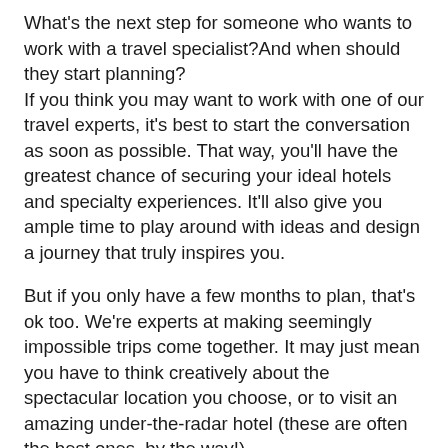What's the next step for someone who wants to work with a travel specialist?And when should they start planning? If you think you may want to work with one of our travel experts, it's best to start the conversation as soon as possible. That way, you'll have the greatest chance of securing your ideal hotels and specialty experiences. It'll also give you ample time to play around with ideas and design a journey that truly inspires you.
But if you only have a few months to plan, that's ok too. We're experts at making seemingly impossible trips come together. It may just mean you have to think creatively about the spectacular location you choose, or to visit an amazing under-the-radar hotel (these are often the best ones, by the way!).
The starting point is to do a little research and select a travel specialist that you vibe with, then begin a conversation. Here's a useful tip: the really good travel specialists won't try to sell you on a set itinerary. Rather, they'll have a few ideas to spark your interest and will then work closely with you to customize your journey. We have ideas like the ones we shared above, but then